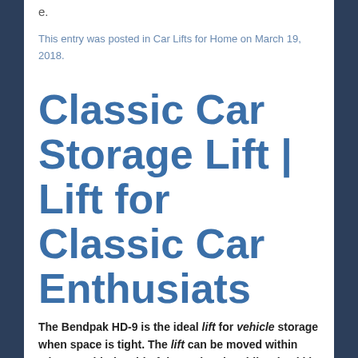e.
This entry was posted in Car Lifts for Home on March 19, 2018.
Classic Car Storage Lift | Lift for Classic Car Enthusiats
The Bendpak HD-9 is the ideal lift for vehicle storage when space is tight. The lift can be moved within minutes with the aid of the optional mobile wheel kit. Perfect for the Classic car enthusiast, a